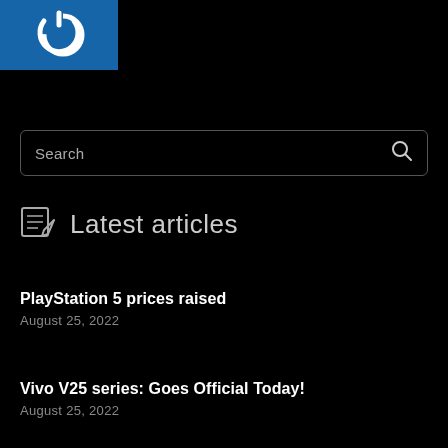[Figure (logo): Power button icon logo on blue background]
Search
Latest articles
PlayStation 5 prices raised
August 25, 2022
Vivo V25 series: Goes Official Today!
August 25, 2022